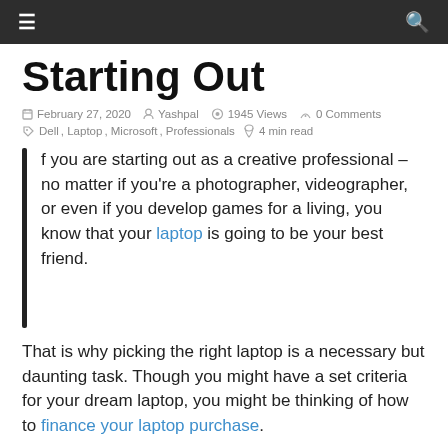≡  🔍
Starting Out
February 27, 2020  Yashpal  1945 Views  0 Comments
Dell, Laptop, Microsoft, Professionals  4 min read
If you are starting out as a creative professional – no matter if you're a photographer, videographer, or even if you develop games for a living, you know that your laptop is going to be your best friend.
That is why picking the right laptop is a necessary but daunting task. Though you might have a set criteria for your dream laptop, you might be thinking of how to finance your laptop purchase.